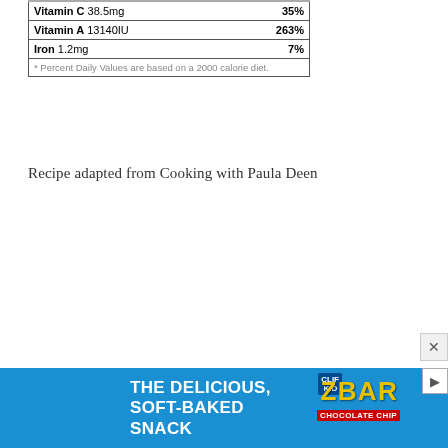| Vitamin C 38.5mg | 35% |
| Vitamin A 13140IU | 263% |
| Iron 1.2mg | 7% |
| * Percent Daily Values are based on a 2000 calorie diet. |  |
Recipe adapted from Cooking with Paula Deen
[Figure (other): Advertisement banner for CLIF Kid ZBAR: 'The Delicious, Soft-Baked Snack' with chocolate chip Z Bar product image on blue background]